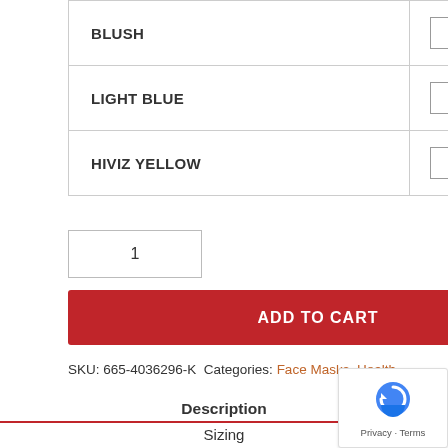| Color | Qty |
| --- | --- |
| BLUSH | 0 |
| LIGHT BLUE | 0 |
| HIVIZ YELLOW | 0 |
1
ADD TO CART
SKU: 665-4036296-K Categories: Face Masks, Health
Description
Sizing
Additional information